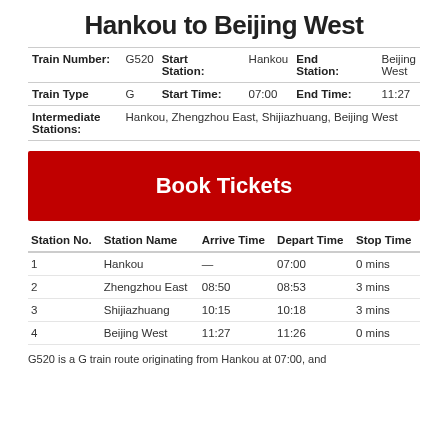Hankou to Beijing West
| Field | Value | Field | Value | Field | Value |
| --- | --- | --- | --- | --- | --- |
| Train Number: | G520 | Start Station: | Hankou | End Station: | Beijing West |
| Train Type | G | Start Time: | 07:00 | End Time: | 11:27 |
| Intermediate Stations: | Hankou, Zhengzhou East, Shijiazhuang, Beijing West |  |  |  |  |
Book Tickets
| Station No. | Station Name | Arrive Time | Depart Time | Stop Time |
| --- | --- | --- | --- | --- |
| 1 | Hankou | — | 07:00 | 0 mins |
| 2 | Zhengzhou East | 08:50 | 08:53 | 3 mins |
| 3 | Shijiazhuang | 10:15 | 10:18 | 3 mins |
| 4 | Beijing West | 11:27 | 11:26 | 0 mins |
G520 is a G train route originating from Hankou at 07:00, and